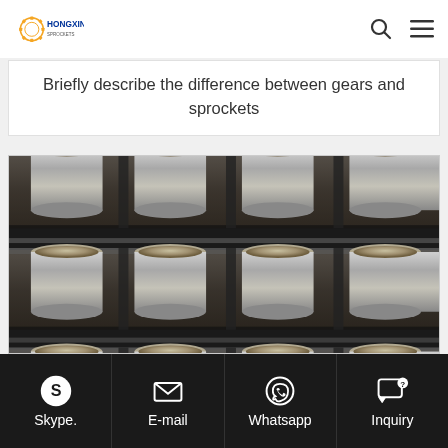HONGXIN
Briefly describe the difference between gears and sprockets
[Figure (photo): Close-up photo of a roller chain showing cylindrical rollers and metal links in a grid pattern]
Skype.  E-mail  Whatsapp  Inquiry